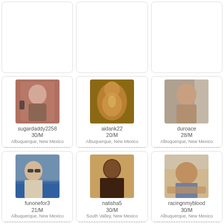[Figure (photo): Empty card placeholder top row 1]
[Figure (photo): Empty card placeholder top row 2]
[Figure (photo): Empty card placeholder top row 3]
[Figure (photo): Profile photo of sugardaddy2258, male on phone]
sugardaddy2258
30/M
Albuquerque, New Mexico
[Figure (photo): Profile photo of aidank22, male torso]
aidank22
20/M
Albuquerque, New Mexico
[Figure (photo): Profile photo of duroace, male shirtless]
duroace
28/M
Albuquerque, New Mexico
[Figure (photo): Profile photo of funonefor3, male with sunglasses outdoors]
funonefor3
21/M
Albuquerque, New Mexico
[Figure (photo): Profile photo of natisha5, male shirtless]
natisha5
30/M
South Valley, New Mexico
[Figure (photo): Profile photo of racingnmyblood, male reclining]
racingnmyblood
30/M
Albuquerque, New Mexico